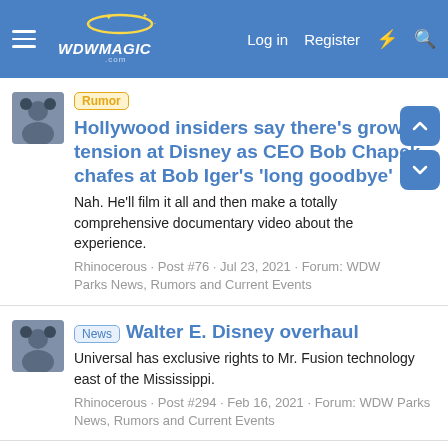WDWMAGIC — Log in  Register
Rumor: Hollywood insiders say there's growing tension at Disney as CEO Bob Chapek chafes at Bob Iger's 'long goodbye'
Nah. He'll film it all and then make a totally comprehensive documentary video about the experience.
Rhinocerous · Post #76 · Jul 23, 2021 · Forum: WDW Parks News, Rumors and Current Events
News: Walter E. Disney overhaul
Universal has exclusive rights to Mr. Fusion technology east of the Mississippi.
Rhinocerous · Post #294 · Feb 16, 2021 · Forum: WDW Parks News, Rumors and Current Events
News: Tomorrowland love
Put in after the Fox merger, I assume.